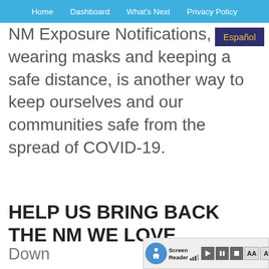Home  Dashboard  What's Next  Privacy Policy
NM Exposure Notifications, like wearing masks and keeping a safe distance, is another way to keep ourselves and our communities safe from the spread of COVID-19.
HELP US BRING BACK THE NM WE LOVE
Down